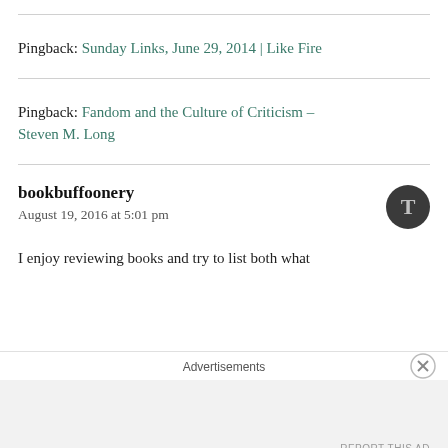Pingback: Sunday Links, June 29, 2014 | Like Fire
Pingback: Fandom and the Culture of Criticism – Steven M. Long
bookbuffoonery
August 19, 2016 at 5:01 pm
I enjoy reviewing books and try to list both what
Advertisements